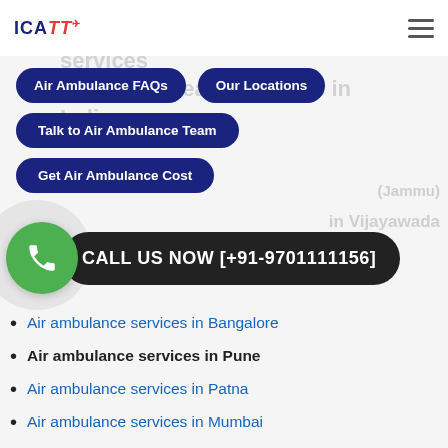ICATT
Our emergency medical transit services located in nearby centers in India.
Air Ambulance FAQs
Our Locations
Talk to Air Ambulance Team
Get Air Ambulance Cost
CALL US NOW [+91-9701111156]
Air ambulance services in Bangalore
Air ambulance services in Pune
Air ambulance services in Patna
Air ambulance services in Mumbai
Air ambulance services in Kochi
Air ambulance services in Chennai
Air ambulance services in Mysore